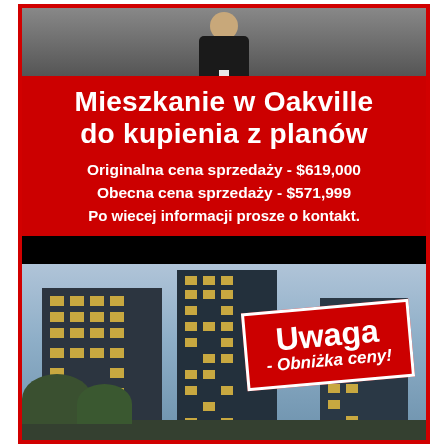[Figure (photo): Person in suit at top, modern dark residential towers below]
Mieszkanie w Oakville do kupienia z planów
Originalna cena sprzedaży - $619,000
Obecna cena sprzedaży - $571,999
Po wiecej informacji prosze o kontakt.
Uwaga - Obniżka ceny!